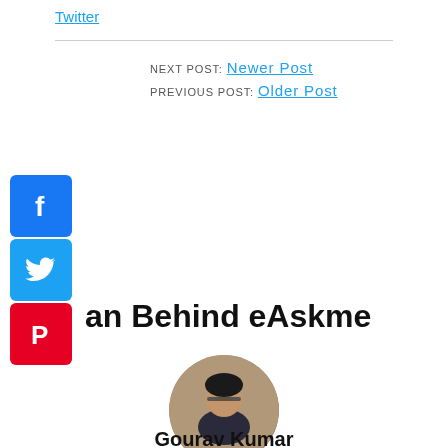Twitter
NEXT POST: Newer Post
PREVIOUS POST: Older Post
[Figure (illustration): Facebook icon (blue square with white f)]
[Figure (illustration): Twitter icon (blue square with white bird)]
[Figure (illustration): Pinterest icon (red square with white P)]
an Behind eAskme
[Figure (photo): Circular profile photo of a man with glasses and dark hair]
Gourav Kumar